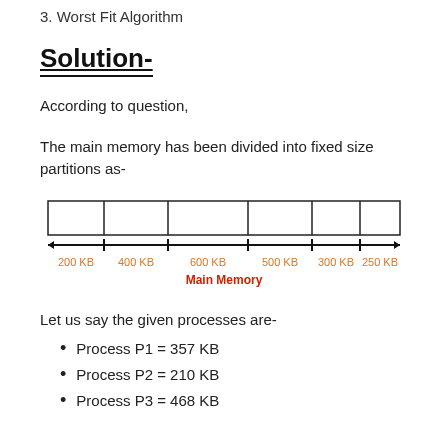3. Worst Fit Algorithm
Solution-
According to question,
The main memory has been divided into fixed size partitions as-
[Figure (schematic): Diagram of main memory divided into 6 fixed-size partitions labeled 200 KB, 400 KB, 600 KB, 500 KB, 300 KB, 250 KB, with a double-headed arrow below and 'Main Memory' label.]
Let us say the given processes are-
Process P1 = 357 KB
Process P2 = 210 KB
Process P3 = 468 KB